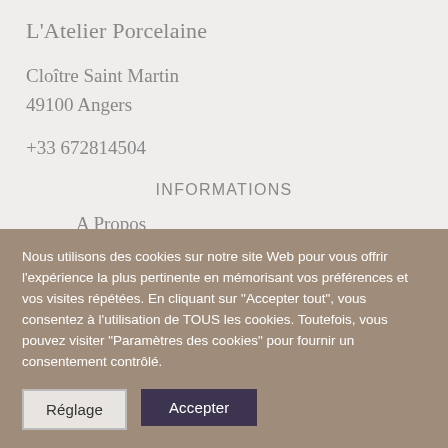L'Atelier Porcelaine
Cloître Saint Martin
49100 Angers
+33 672814504
INFORMATIONS
A Propos
Plan du Site
Nous utilisons des cookies sur notre site Web pour vous offrir l'expérience la plus pertinente en mémorisant vos préférences et vos visites répétées. En cliquant sur "Accepter tout", vous consentez à l'utilisation de TOUS les cookies. Toutefois, vous pouvez visiter "Paramètres des cookies" pour fournir un consentement contrôlé.
Réglage | Accepter